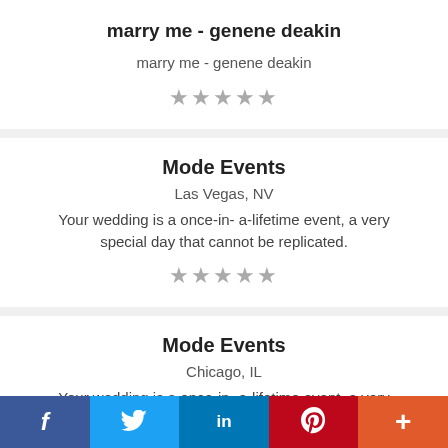marry me - genene deakin
marry me - genene deakin
★★★★★
Mode Events
Las Vegas, NV
Your wedding is a once-in- a-lifetime event, a very special day that cannot be replicated.
★★★★★
Mode Events
Chicago, IL
Your wedding is a once-in- a-lifetime event, a very special day that cannot be replicated.
f  🐦  in  P  +